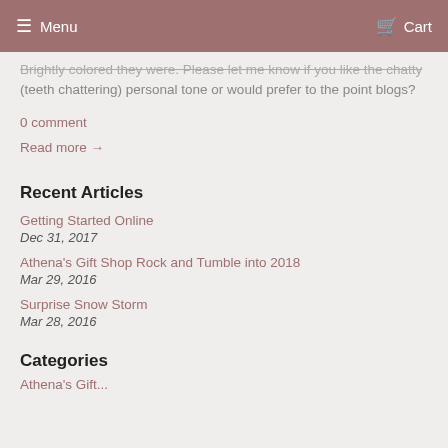Menu   Cart
Brightly colored they were. Please let me know if you like the chatty (teeth chattering) personal tone or would prefer to the point blogs?
0 comment
Read more →
Recent Articles
Getting Started Online
Dec 31, 2017
Athena's Gift Shop Rock and Tumble into 2018
Mar 29, 2016
Surprise Snow Storm
Mar 28, 2016
Categories
Athena's Gift...